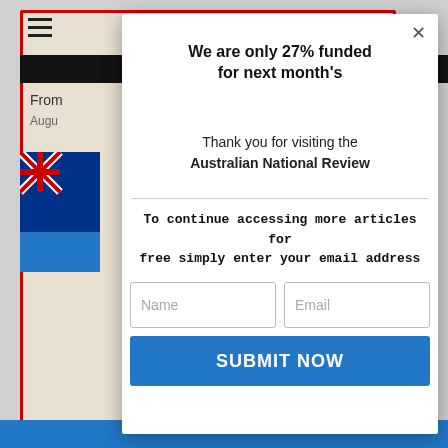[Figure (screenshot): Background website page showing Australian National Review with red border, hamburger menu, nav strip, partial flag image, and blue bottom strip]
We are only 27% funded
for next month's
Thank you for visiting the Australian National Review
To continue accessing more articles for free simply enter your email address
Name
Email
SUBMIT NOW